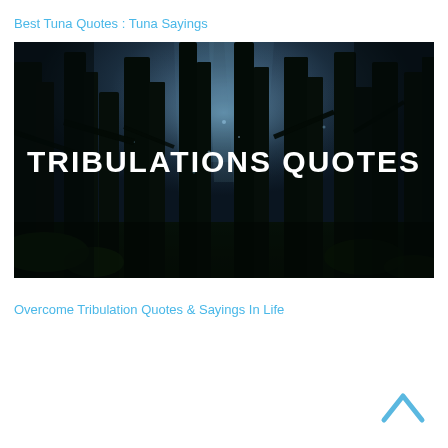Best Tuna Quotes : Tuna Sayings
[Figure (illustration): Dark moody forest scene with tall dark trees and light rays filtering through, with bold white text overlay reading 'TRIBULATIONS QUOTES']
Overcome Tribulation Quotes & Sayings In Life